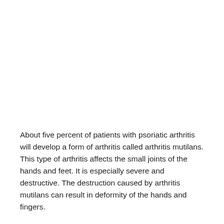About five percent of patients with psoriatic arthritis will develop a form of arthritis called arthritis mutilans. This type of arthritis affects the small joints of the hands and feet. It is especially severe and destructive. The destruction caused by arthritis mutilans can result in deformity of the hands and fingers.
Rare symptoms include problems with the aortic heart valve, extra tissue formation in the lungs, and